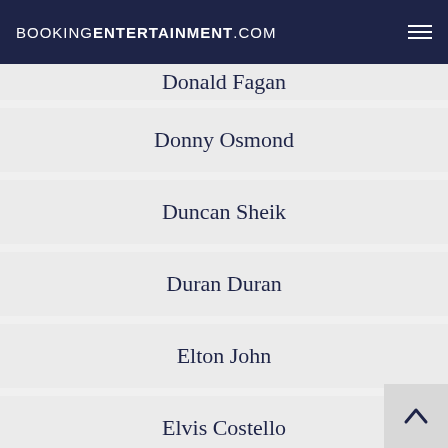BOOKINGENTERTAINMENT.COM
Donald Fagan
Donny Osmond
Duncan Sheik
Duran Duran
Elton John
Elvis Costello
Emmylou Harris
En Vogue
Englebert Humperdinck
Eric Cl...